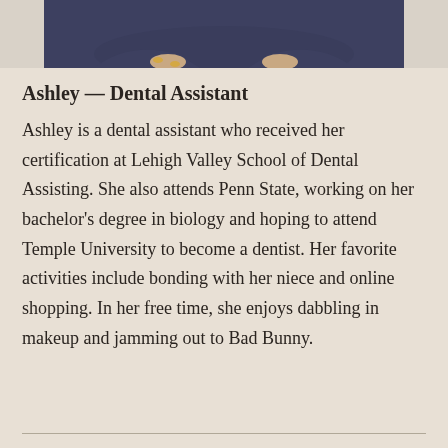[Figure (photo): Partial photo of Ashley, a dental assistant, showing her torso/arms area at the top of the card.]
Ashley — Dental Assistant
Ashley is a dental assistant who received her certification at Lehigh Valley School of Dental Assisting. She also attends Penn State, working on her bachelor's degree in biology and hoping to attend Temple University to become a dentist. Her favorite activities include bonding with her niece and online shopping. In her free time, she enjoys dabbling in makeup and jamming out to Bad Bunny.